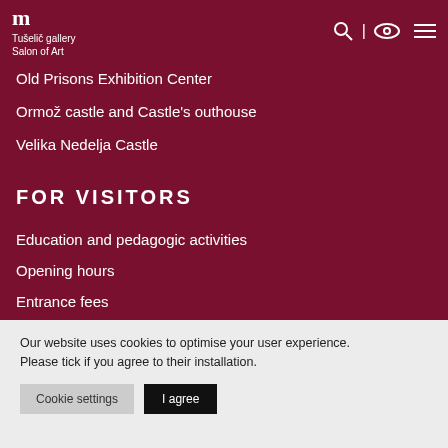Tušelič gallery | Salon of Art
Old Prisons Exhibition Center
Ormož castle and Castle's outhouse
Velika Nedelja Castle
FOR VISITORS
Education and pedagogic activities
Opening hours
Entrance fees
The library
Our website uses cookies to optimise your user experience. Please tick if you agree to their installation.
Cookie settings | I agree